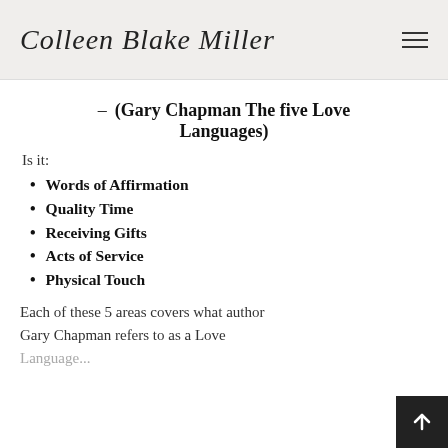Colleen Blake Miller
– (Gary Chapman The five Love Languages)
Is it:
Words of Affirmation
Quality Time
Receiving Gifts
Acts of Service
Physical Touch
Each of these 5 areas covers what author Gary Chapman refers to as a Love Language, which he believes that...